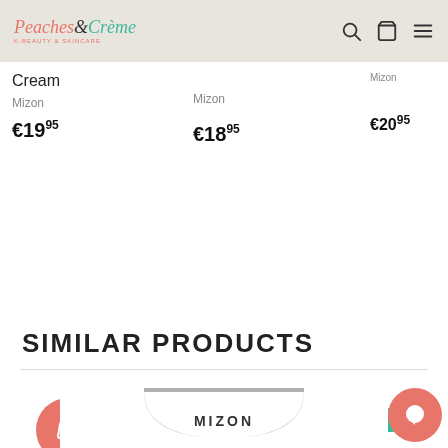Peaches & Crème — K-Beauty & Skincare
Cream
Mizon
€19.95
Mizon
€18.95
Mizon
€20.95
SIMILAR PRODUCTS
[Figure (other): Pink circular shopping bag with heart icon button]
[Figure (other): In Stock green badge]
[Figure (photo): Mizon cream jar product photo, silver lid, MIZON text on front]
[Figure (other): Pink circular chat/message bubble icon]